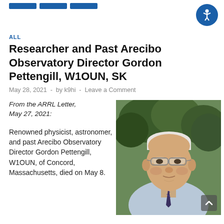ALL
Researcher and Past Arecibo Observatory Director Gordon Pettengill, W1OUN, SK
May 28, 2021  -  by k9hi  -  Leave a Comment
From the ARRL Letter, May 27, 2021:
[Figure (photo): Portrait photograph of Gordon Pettengill, an elderly man with white hair wearing glasses, a light blue shirt and dark patterned tie, photographed outdoors with trees in background.]
Renowned physicist, astronomer, and past Arecibo Observatory Director Gordon Pettengill, W1OUN, of Concord, Massachusetts, died on May 8.